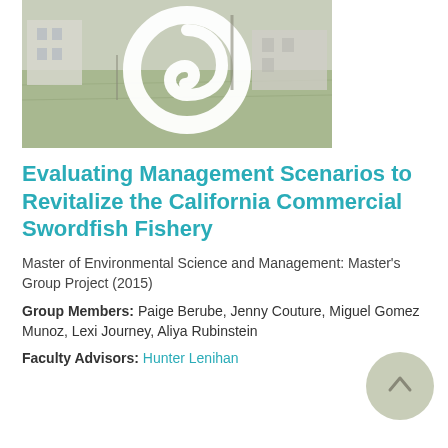[Figure (photo): Outdoor photograph showing a grassy field area with buildings in the background and a white abstract sculptural element (ring/hook shape) overlaid or present in the scene.]
Evaluating Management Scenarios to Revitalize the California Commercial Swordfish Fishery
Master of Environmental Science and Management: Master's Group Project (2015)
Group Members: Paige Berube, Jenny Couture, Miguel Gomez Munoz, Lexi Journey, Aliya Rubinstein
Faculty Advisors: Hunter Lenihan